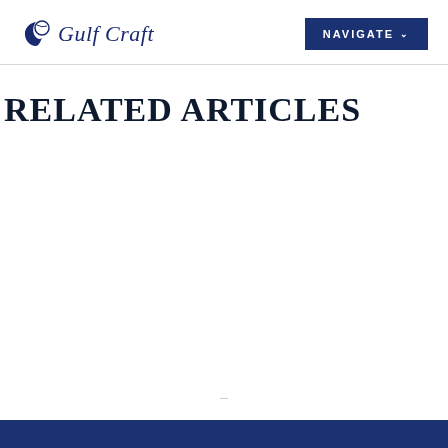Gulf Craft | NAVIGATE
RELATED ARTICLES